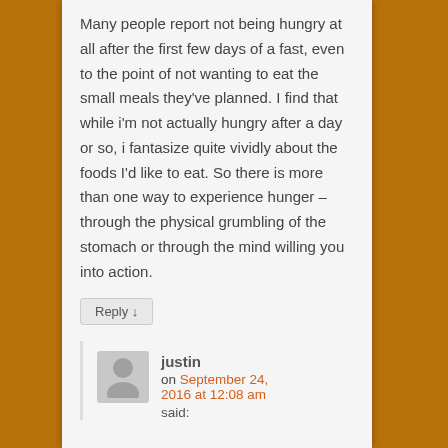Many people report not being hungry at all after the first few days of a fast, even to the point of not wanting to eat the small meals they've planned. I find that while i'm not actually hungry after a day or so, i fantasize quite vividly about the foods I'd like to eat. So there is more than one way to experience hunger – through the physical grumbling of the stomach or through the mind willing you into action.
Reply ↓
justin on September 24, 2016 at 12:08 am said: